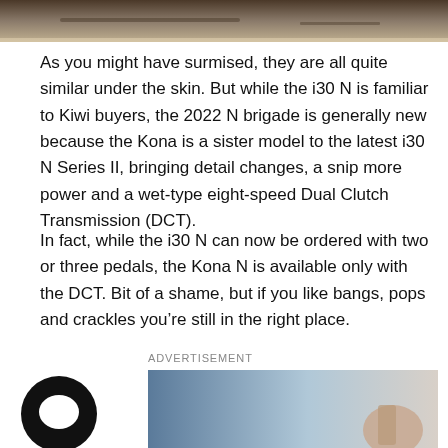[Figure (photo): Top portion of a car photo showing a wooden or dark surface, partially cropped at the top of the page]
As you might have surmised, they are all quite similar under the skin. But while the i30 N is familiar to Kiwi buyers, the 2022 N brigade is generally new because the Kona is a sister model to the latest i30 N Series II, bringing detail changes, a snip more power and a wet-type eight-speed Dual Clutch Transmission (DCT).
In fact, while the i30 N can now be ordered with two or three pedals, the Kona N is available only with the DCT. Bit of a shame, but if you like bangs, pops and crackles you’re still in the right place.
ADVERTISEMENT
[Figure (photo): Advertisement image showing a blurred blue and light grey background with a hand visible on the right side]
[Figure (illustration): Black circular chat/comment icon with a speech bubble symbol in white]